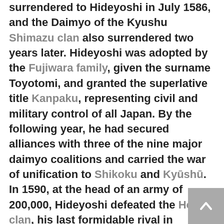surrendered to Hideyoshi in July 1586, and the Daimyo of the Kyushu Shimazu clan also surrendered two years later. Hideyoshi was adopted by the Fujiwara family, given the surname Toyotomi, and granted the superlative title Kanpaku, representing civil and military control of all Japan. By the following year, he had secured alliances with three of the nine major daimyo coalitions and carried the war of unification to Shikoku and Kyūshū. In 1590, at the head of an army of 200,000, Hideyoshi defeated the Hōjō clan, his last formidable rival in eastern Honshū. The remaining daimyo soon capitulated, and the military unification of Japan was complete. This unification lasted until the death of